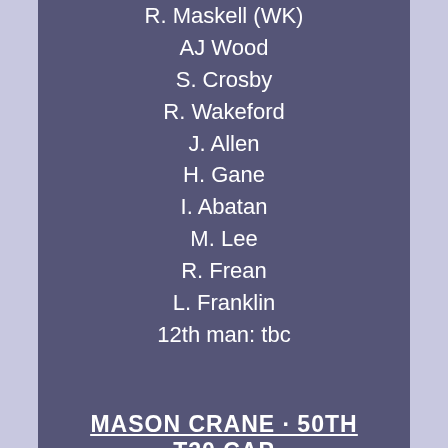R. Maskell (WK)
AJ Wood
S. Crosby
R. Wakeford
J. Allen
H. Gane
I. Abatan
M. Lee
R. Frean
L. Franklin
12th man: tbc
MASON CRANE · 50TH T20 CAP
Congratulations to Mason who won his 50th T20 cap last night playing for Hampshire against Somerset at the Ageas Bowl. Unfortunately it wasn't in a winning cause as the Hawks went down by 4 wickets, but with a cheeky red inker batting at 10 and a wicket